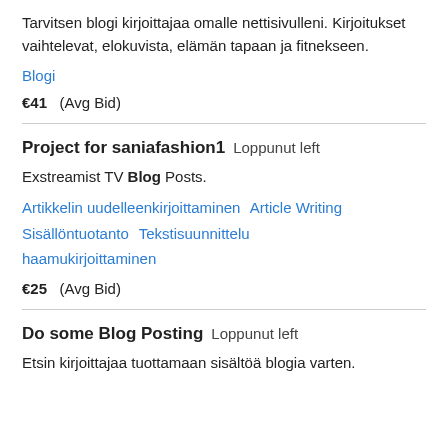Tarvitsen blogi kirjoittajaa omalle nettisivulleni. Kirjoitukset vaihtelevat, elokuvista, elämän tapaan ja fitnekseen.
Blogi
€41  (Avg Bid)
Project for saniafashion1   Loppunut left
Exstreamist TV Blog Posts.
Artikkelin uudelleenkirjoittaminen   Article Writing   Sisällöntuotanto   Tekstisuunnittelu   haamukirjoittaminen
€25  (Avg Bid)
Do some Blog Posting   Loppunut left
Etsin kirjoittajaa tuottamaan sisältöä blogia varten.